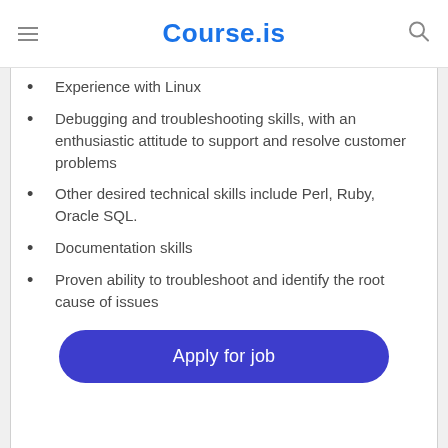Course.is
Experience with Linux
Debugging and troubleshooting skills, with an enthusiastic attitude to support and resolve customer problems
Other desired technical skills include Perl, Ruby, Oracle SQL.
Documentation skills
Proven ability to troubleshoot and identify the root cause of issues
Apply for job